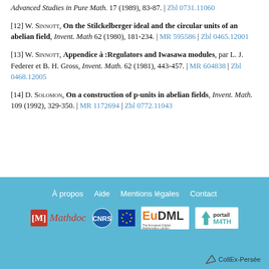[11] reference to Advanced Studies in Pure Math. 17 (1989), 83-87. | Zbl 0731.11060
[12] W. Sinnott, On the Stilckelberger ideal and the circular units of an abelian field, Invent. Math 62 (1980), 181-234. | MR 595586 | Zbl 0465.12001
[13] W. Sinnott, Appendice à :Regulators and Iwasawa modules, par L. J. Federer et B. H. Gross, Invent. Math. 62 (1981), 443-457. | MR 604838 | Zbl 0468.12005
[14] D. Solomon, On a construction of p-units in abelian fields, Invent. Math. 109 (1992), 329-350. | MR 1172694 | Zbl 0772.11043
À propos | Aide | Mentions légales | Contact